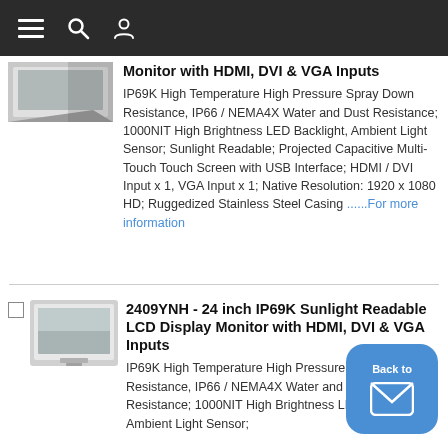Navigation bar with menu, search, and user icons
[Figure (photo): Partial product image of a stainless steel LCD monitor, upper portion visible]
Monitor with HDMI, DVI & VGA Inputs
IP69K High Temperature High Pressure Spray Down Resistance, IP66 / NEMA4X Water and Dust Resistance; 1000NIT High Brightness LED Backlight, Ambient Light Sensor; Sunlight Readable; Projected Capacitive Multi-Touch Touch Screen with USB Interface; HDMI / DVI Input x 1, VGA Input x 1; Native Resolution: 1920 x 1080 HD; Ruggedized Stainless Steel Casing ......For more information
[Figure (photo): Product image of a 24 inch stainless steel sunlight readable LCD display monitor]
2409YNH - 24 inch IP69K Sunlight Readable LCD Display Monitor with HDMI, DVI & VGA Inputs
IP69K High Temperature High Pressure Spray Down Resistance, IP66 / NEMA4X Water and Dust Resistance; 1000NIT High Brightness LED Backlight, Ambient Light Sensor;